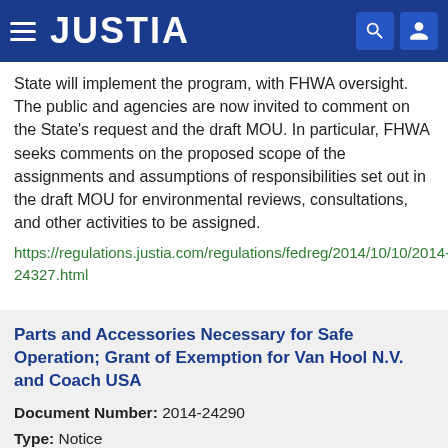JUSTIA
State will implement the program, with FHWA oversight. The public and agencies are now invited to comment on the State's request and the draft MOU. In particular, FHWA seeks comments on the proposed scope of the assignments and assumptions of responsibilities set out in the draft MOU for environmental reviews, consultations, and other activities to be assigned.
https://regulations.justia.com/regulations/fedreg/2014/10/10/2014-24327.html
Parts and Accessories Necessary for Safe Operation; Grant of Exemption for Van Hool N.V. and Coach USA
Document Number: 2014-24290
Type: Notice
Date: 2014-10-10
Agency: Federal Motor Carrier Safety Administration,